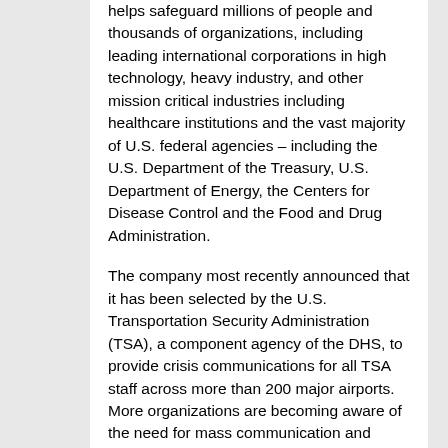helps safeguard millions of people and thousands of organizations, including leading international corporations in high technology, heavy industry, and other mission critical industries including healthcare institutions and the vast majority of U.S. federal agencies – including the U.S. Department of the Treasury, U.S. Department of Energy, the Centers for Disease Control and the Food and Drug Administration.
The company most recently announced that it has been selected by the U.S. Transportation Security Administration (TSA), a component agency of the DHS, to provide crisis communications for all TSA staff across more than 200 major airports. More organizations are becoming aware of the need for mass communication and collaboration with new legislation such as the DHS Interoperable Communications Act. AtHoc is well positioned to support compliance with this law, which requires homeland security agencies to maintain interoperable communications for daily operations, planned events and emergencies.
AtHoc technology enhances BlackBerry's mission to